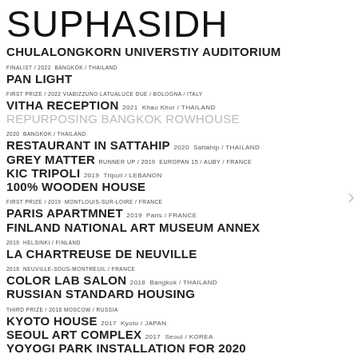SUPHASIDH
CHULALONGKORN UNIVERSTIY AUDITORIUM
FINALIST / 2022  Bangkok / THAILAND
PAN LIGHT
FIRST PRIZE / 2022  VIABIZZUNO LATUALUCE DUE / Bologna / ITALY
VITHA RECEPTION  2021  Khao Khor / THAILAND
REPURPOSING BANGKOK ROWHOUSE
2020  Bangkok / THAILAND
RESTAURANT IN SATTAHIP  2020  Sattahip / THAILAND
GREY MATTER  RUNNER UP / 2019  EUROPAN 15 / Auby / FRANCE
KIC TRIPOLI  2019  Tripoli / LEBANON
100% WOODEN HOUSE
FIRST PRIZE / 2019  Montlouis-sur-Loire / FRANCE
PARIS APARTMNET  2019  Paris / FRANCE
FINLAND NATIONAL ART MUSEUM ANNEX
2019  Helsinki / FINLAND
LA CHARTREUSE DE NEUVILLE
2018  Neuville-sous-Montreuil / FRANCE
COLOR LAB SALON  2018  Bangkok / THAILAND
RUSSIAN STANDARD HOUSING
THIRD PRIZE / 2018  Moscow / RUSSIA
KYOTO HOUSE  2017  Kyoto / JAPAN
SEOUL ART COMPLEX  2017  Seoul / KOREA
YOYOGI PARK INSTALLATION FOR 2020 OLYMPIC  2017  Tokyo / JAPAN
LOMRADINI ANTIPAROS RESIDENCE